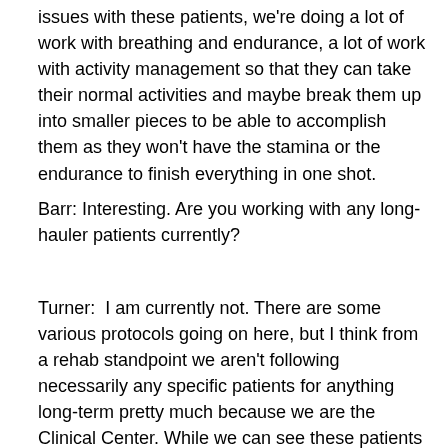issues with these patients, we're doing a lot of work with breathing and endurance, a lot of work with activity management so that they can take their normal activities and maybe break them up into smaller pieces to be able to accomplish them as they won't have the stamina or the endurance to finish everything in one shot.
Barr: Interesting. Are you working with any long-hauler patients currently?
Turner:  I am currently not. There are some various protocols going on here, but I think from a rehab standpoint we aren't following necessarily any specific patients for anything long-term pretty much because we are the Clinical Center. While we can see these patients as outpatients when they come back and visit, right now we're really doing kind of the acute inpatient stay work, and then at that point, it's kind of up to the primary team